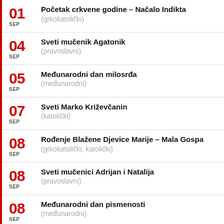01 SEP – Početak crkvene godine – Načalo Indikta (grkokatolički)
04 SEP – Sveti mučenik Agatonik (pravoslavni)
05 SEP – Međunarodni dan milosrđa (međunarodni)
07 SEP – Sveti Marko Križevčanin (katolički)
08 SEP – Rođenje Blažene Djevice Marije – Mala Gospa (grkokatolički, katolički)
08 SEP – Sveti mučenici Adrijan i Natalija (pravoslavni)
08 SEP – Međunarodni dan pismenosti (međunarodni)